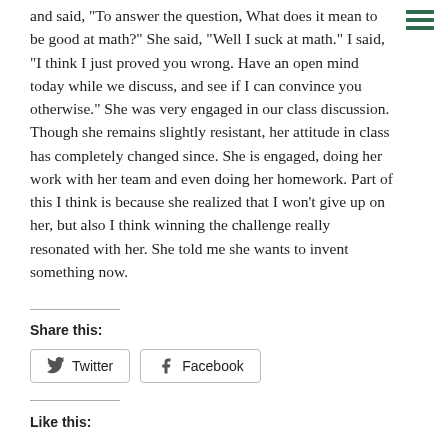and said, "To answer the question, What does it mean to be good at math?" She said, "Well I suck at math." I said, "I think I just proved you wrong. Have an open mind today while we discuss, and see if I can convince you otherwise." She was very engaged in our class discussion. Though she remains slightly resistant, her attitude in class has completely changed since. She is engaged, doing her work with her team and even doing her homework. Part of this I think is because she realized that I won't give up on her, but also I think winning the challenge really resonated with her. She told me she wants to invent something now.
Share this:
Twitter  Facebook
Like this: